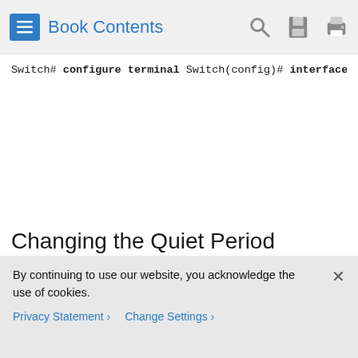Book Contents
Switch# configure terminal
Switch(config)# interface fastethernet0/1
Switch(config-if)# switchport mode access
Switch(config-if)# dot1x pae authenticator
Switch(config-if)# dot1x host-mode multiple
Switch(config-if)# dot1x port-control auto
Switch(config-if)# end
Switch#
Changing the Quiet Period
When the switch cannot authenticate the client, the switch remains idle for a set period of time, and then tries again. The idle time is determined by the quiet-period value. A failed authentication of the client might occur because the client
By continuing to use our website, you acknowledge the use of cookies.
Privacy Statement › Change Settings ›